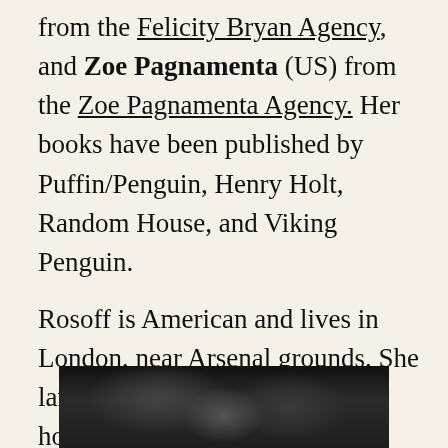from the Felicity Bryan Agency, and Zoe Pagnamenta (US) from the Zoe Pagnamenta Agency. Her books have been published by Puffin/Penguin, Henry Holt, Random House, and Viking Penguin.

Rosoff is American and lives in London, near Arsenal grounds. She laments spending too much time horse riding when she should be writing. And she notices everything. (As you can see from her latest book Picture Me Gone.)
[Figure (photo): Black and white photograph partially visible at bottom of page, showing a person in dark tones]